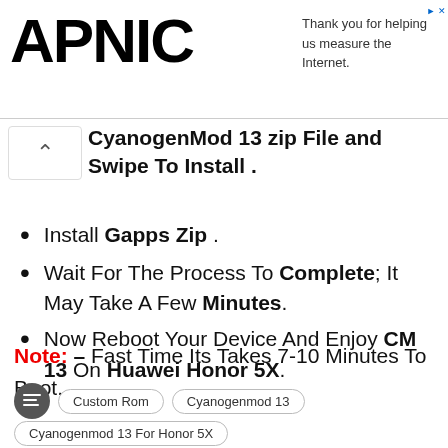Thank you for helping us measure the Internet.
CyanogenMod 13 zip File and Swipe To Install .
Install Gapps Zip .
Wait For The Process To Complete; It May Take A Few Minutes.
Now Reboot Your Device And Enjoy CM 13 On Huawei Honor 5X.
Note: – Fast Time Its Takes 7-10 Minutes To Boot.
Custom Rom  Cyanogenmod 13  Cyanogenmod 13 For Honor 5X